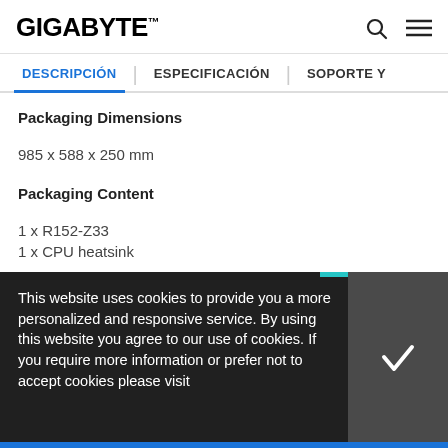GIGABYTE
DESCRIPCIÓN | ESPECIFICACIÓN | SOPORTE Y
Packaging Dimensions
985 x 588 x 250 mm
Packaging Content
1 x R152-Z33
1 x CPU heatsink
This website uses cookies to provide you a more personalized and responsive service. By using this website you agree to our use of cookies. If you require more information or prefer not to accept cookies please visit